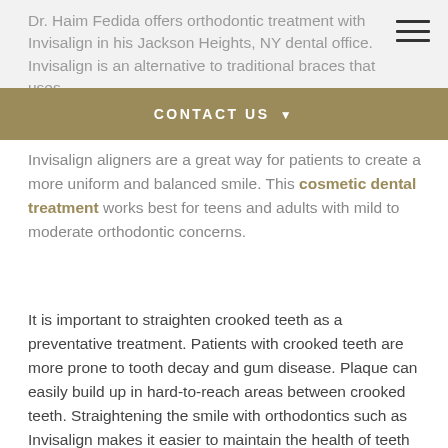Dr. Haim Fedida offers orthodontic treatment with Invisalign in his Jackson Heights, NY dental office. Invisalign is an alternative to traditional braces that uses
CONTACT US
Invisalign aligners are a great way for patients to create a more uniform and balanced smile. This cosmetic dental treatment works best for teens and adults with mild to moderate orthodontic concerns.
It is important to straighten crooked teeth as a preventative treatment. Patients with crooked teeth are more prone to tooth decay and gum disease. Plaque can easily build up in hard-to-reach areas between crooked teeth. Straightening the smile with orthodontics such as Invisalign makes it easier to maintain the health of teeth and gums.